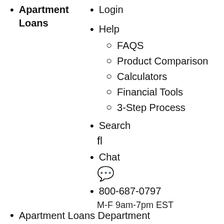Apartment Loans
Login
Help
FAQS
Product Comparison
Calculators
Financial Tools
3-Step Process
Search
fl
Chat
800-687-0797
M-F 9am-7pm EST
Apartment Loans Department